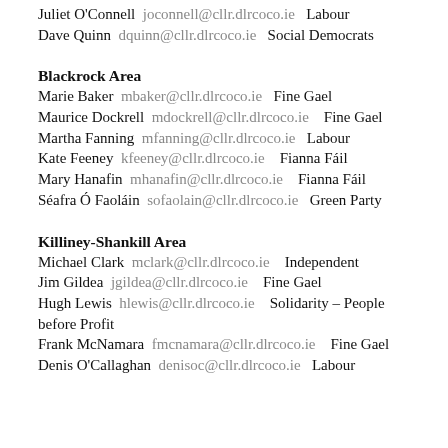Juliet O'Connell  joconnell@cllr.dlrcoco.ie  Labour
Dave Quinn  dquinn@cllr.dlrcoco.ie  Social Democrats
Blackrock Area
Marie Baker  mbaker@cllr.dlrcoco.ie  Fine Gael
Maurice Dockrell  mdockrell@cllr.dlrcoco.ie  Fine Gael
Martha Fanning  mfanning@cllr.dlrcoco.ie  Labour
Kate Feeney  kfeeney@cllr.dlrcoco.ie  Fianna Fáil
Mary Hanafin  mhanafin@cllr.dlrcoco.ie  Fianna Fáil
Séafra Ó Faoláin  sofaolain@cllr.dlrcoco.ie  Green Party
Killiney-Shankill Area
Michael Clark  mclark@cllr.dlrcoco.ie  Independent
Jim Gildea  jgildea@cllr.dlrcoco.ie  Fine Gael
Hugh Lewis  hlewis@cllr.dlrcoco.ie  Solidarity – People before Profit
Frank McNamara  fmcnamara@cllr.dlrcoco.ie  Fine Gael
Denis O'Callaghan  denisoc@cllr.dlrcoco.ie  Labour